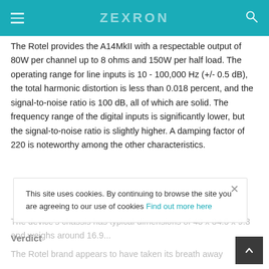ZEXRON
The Rotel provides the A14MkII with a respectable output of 80W per channel up to 8 ohms and 150W per half load. The operating range for line inputs is 10 - 100,000 Hz (+/- 0.5 dB), the total harmonic distortion is less than 0.018 percent, and the signal-to-noise ratio is 100 dB, all of which are solid. The frequency range of the digital inputs is significantly lower, but the signal-to-noise ratio is slightly higher. A damping factor of 220 is noteworthy among the other characteristics.
The device's chassis has typical dimensions of 43 x 34.5 x 9.3 and weighs around 16.9...
Verdict
The Rotel brand appears to have taken its breath away
This site uses cookies. By continuing to browse the site you are agreeing to our use of cookies Find out more here